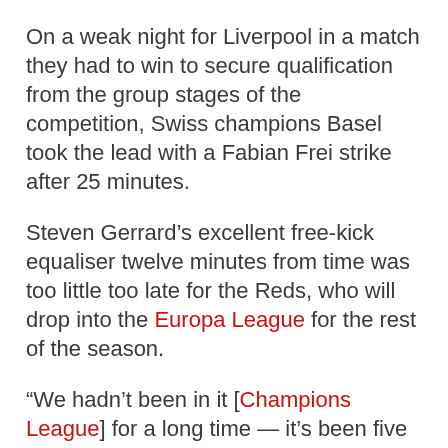On a weak night for Liverpool in a match they had to win to secure qualification from the group stages of the competition, Swiss champions Basel took the lead with a Fabian Frei strike after 25 minutes.
Steven Gerrard’s excellent free-kick equaliser twelve minutes from time was too little too late for the Reds, who will drop into the Europa League for the rest of the season.
“We hadn’t been in it [Champions League] for a long time — it’s been five years since we’d been here so the players deserved the opportunity to be in here,” Rodgers told ITV Sport after the game.